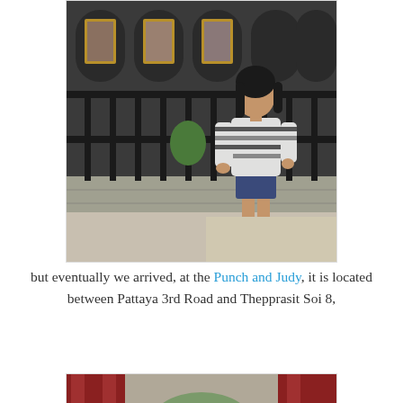[Figure (photo): Woman in striped shirt and denim shorts standing in front of a black metal fence outside a restaurant]
but eventually we arrived, at the Punch and Judy, it is located between Pattaya 3rd Road and Thepprasit Soi 8,
[Figure (photo): Two people seated inside a restaurant with red curtain drapes in background]